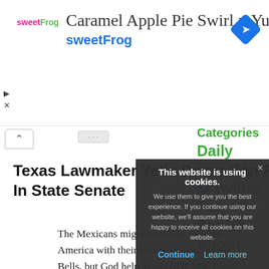[Figure (screenshot): sweetFrog advertisement banner with logo, tagline 'Caramel Apple Pie Swirl = Yum', brand name 'sweetFrog', and a blue navigation icon]
Texas Lawmaker Yells Down Man For Speaking Spanish In State Senate
The Mexicans might be taking over the r… America with their anchor babies and the… Bells, but God help Texas GOP Sen. Chris… they will try to oppress him with their dev… language while he is at work trying to op… them. Texas lawm… Arizona-sty…
Categories
Daily
Monthly
Twitter
Fun
Search
About
Contact
This website is using cookies.
We use them to give you the best experience. If you continue using our website, we'll assume that you are happy to receive all cookies on this website.
Continue  Learn more